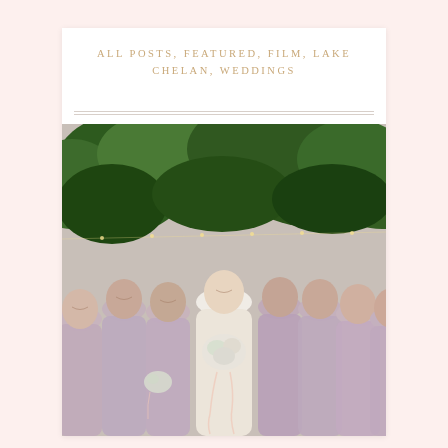ALL POSTS, FEATURED, FILM, LAKE CHELAN, WEDDINGS
[Figure (photo): Wedding party photo: bride in white lace gown holding white floral bouquet surrounded by bridesmaids in dusty purple/mauve gowns, standing outdoors under green leafy vines with string lights]